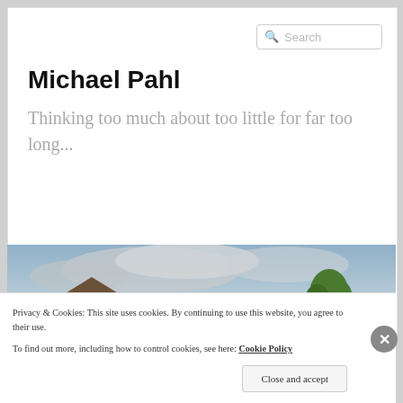Michael Pahl
Thinking too much about too little for far too long...
[Figure (photo): A photograph of a barn and tree under a cloudy sky]
Privacy & Cookies: This site uses cookies. By continuing to use this website, you agree to their use.
To find out more, including how to control cookies, see here: Cookie Policy
Close and accept